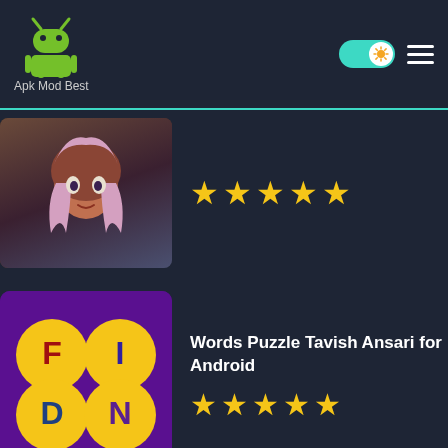Apk Mod Best
[Figure (screenshot): Partial app listing card with anime character thumbnail and 5 gold stars]
[Figure (screenshot): Words Puzzle Tavish Ansari for Android app icon - colorful word puzzle on purple background]
Words Puzzle Tavish Ansari for Android
★★★★★
[Figure (screenshot): Phobies for Android app icon - cartoon creature on blue swirl background]
Phobies for Android
★★★★★
LATEST APPS
[Figure (screenshot): Radios Maroc for Android app icon - Moroccan flag star icon on white background]
Radios Maroc for Android
☆☆☆☆☆